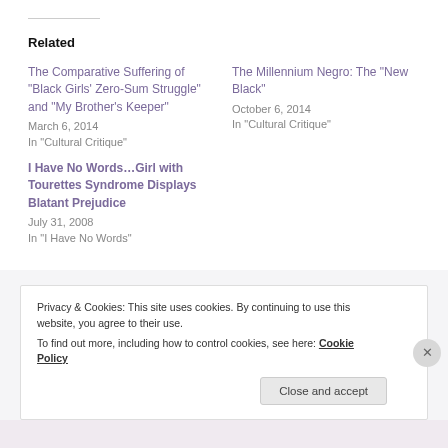Related
The Comparative Suffering of “Black Girls’ Zero-Sum Struggle” and “My Brother’s Keeper”
March 6, 2014
In “Cultural Critique”
The Millennium Negro: The “New Black”
October 6, 2014
In “Cultural Critique”
I Have No Words…Girl with Tourettes Syndrome Displays Blatant Prejudice
July 31, 2008
In “I Have No Words”
Privacy & Cookies: This site uses cookies. By continuing to use this website, you agree to their use.
To find out more, including how to control cookies, see here: Cookie Policy
Close and accept